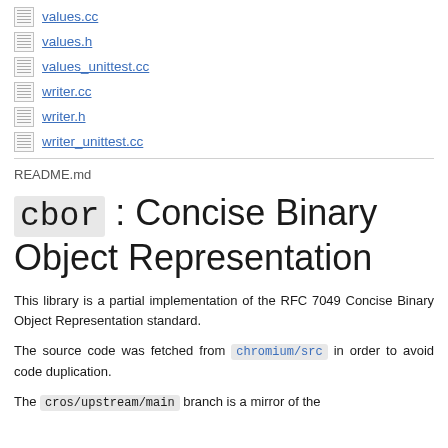values.cc
values.h
values_unittest.cc
writer.cc
writer.h
writer_unittest.cc
README.md
cbor : Concise Binary Object Representation
This library is a partial implementation of the RFC 7049 Concise Binary Object Representation standard.
The source code was fetched from chromium/src in order to avoid code duplication.
The cros/upstream/main branch is a mirror of the